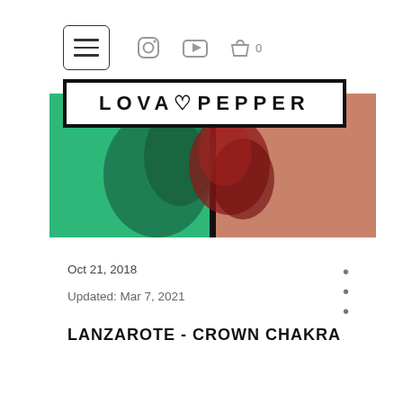[Figure (screenshot): Website navigation bar with hamburger menu icon, Instagram icon, YouTube icon, and shopping cart with 0 items]
LOVA♡PEPPER
[Figure (photo): Hero banner image showing green and red/orange pepper smoke or ink clouds against colored background]
Oct 21, 2018
Updated: Mar 7, 2021
LANZAROTE - CROWN CHAKRA